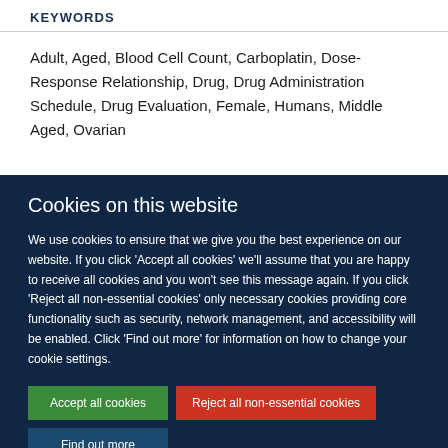KEYWORDS
Adult, Aged, Blood Cell Count, Carboplatin, Dose-Response Relationship, Drug, Drug Administration Schedule, Drug Evaluation, Female, Humans, Middle Aged, Ovarian
Cookies on this website
We use cookies to ensure that we give you the best experience on our website. If you click 'Accept all cookies' we'll assume that you are happy to receive all cookies and you won't see this message again. If you click 'Reject all non-essential cookies' only necessary cookies providing core functionality such as security, network management, and accessibility will be enabled. Click 'Find out more' for information on how to change your cookie settings.
Accept all cookies
Reject all non-essential cookies
Find out more